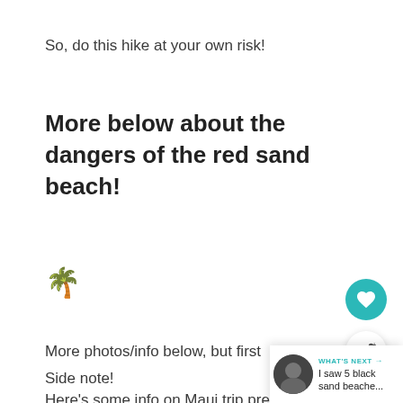So, do this hike at your own risk!
More below about the dangers of the red sand beach!
🌴
More photos/info below, but first
Side note!
Here's some info on Maui trip prep!
[Figure (screenshot): UI overlay with heart (like) button in teal circle and share button in white circle with shadow]
[Figure (screenshot): "WHAT'S NEXT" card overlay at bottom right with circular photo thumbnail and text: I saw 5 black sand beache...]